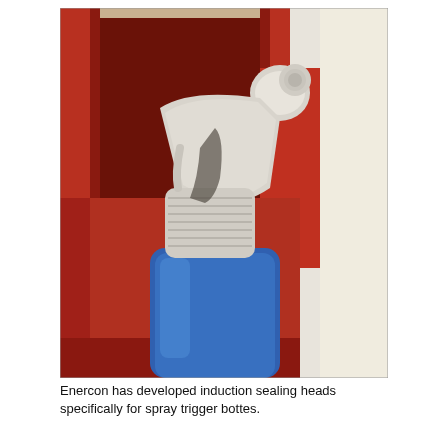[Figure (photo): Close-up photograph of a white plastic spray trigger head attached to a blue spray bottle, inserted into a red induction sealing fixture/head device. The background shows a light-colored door or wall on the right side.]
Enercon has developed induction sealing heads specifically for spray trigger bottes.